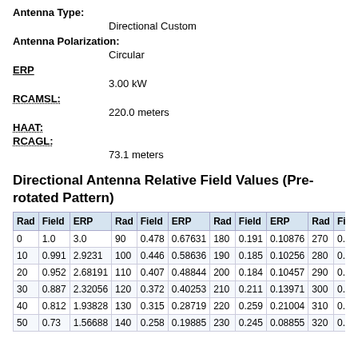Antenna Type:
Directional Custom
Antenna Polarization:
Circular
ERP
3.00 kW
RCAMSL:
220.0 meters
HAAT:
RCAGL:
73.1 meters
Directional Antenna Relative Field Values (Pre-rotated Pattern)
| Rad | Field | ERP | Rad | Field | ERP | Rad | Field | ERP | Rad | Fie |
| --- | --- | --- | --- | --- | --- | --- | --- | --- | --- | --- |
| 0 | 1.0 | 3.0 | 90 | 0.478 | 0.67631 | 180 | 0.191 | 0.10876 | 270 | 0.4 |
| 10 | 0.991 | 2.9231 | 100 | 0.446 | 0.58636 | 190 | 0.185 | 0.10256 | 280 | 0.5 |
| 20 | 0.952 | 2.68191 | 110 | 0.407 | 0.48844 | 200 | 0.184 | 0.10457 | 290 | 0.5 |
| 30 | 0.887 | 2.32056 | 120 | 0.372 | 0.40253 | 210 | 0.211 | 0.13971 | 300 | 0.6 |
| 40 | 0.812 | 1.93828 | 130 | 0.315 | 0.28719 | 220 | 0.259 | 0.21004 | 310 | 0.7 |
| 50 | 0.73 | 1.56688 | 140 | 0.258 | 0.19885 | 230 | 0.245 | 0.08855 | 320 | 0.8 |